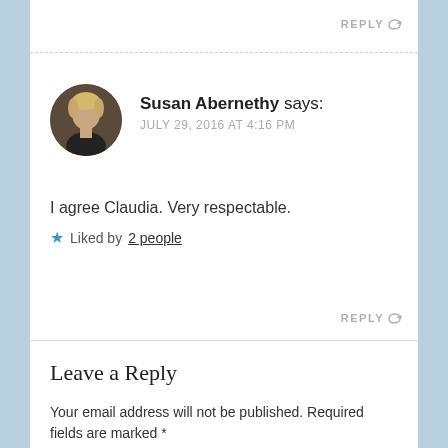REPLY
Susan Abernethy says: JULY 29, 2016 AT 4:16 PM
I agree Claudia. Very respectable.
Liked by 2 people
REPLY
Leave a Reply
Your email address will not be published. Required fields are marked *